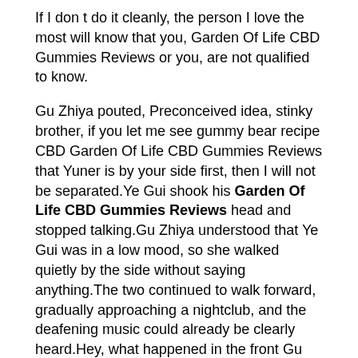If I don t do it cleanly, the person I love the most will know that you, Garden Of Life CBD Gummies Reviews or you, are not qualified to know.
Gu Zhiya pouted, Preconceived idea, stinky brother, if you let me see gummy bear recipe CBD Garden Of Life CBD Gummies Reviews that Yuner is by your side first, then I will not be separated.Ye Gui shook his Garden Of Life CBD Gummies Reviews head and stopped talking.Gu Zhiya understood that Ye Gui was in a low mood, so she walked quietly by the side without saying anything.The two continued to walk forward, gradually approaching a nightclub, and the deafening music could already be clearly heard.Hey, what happened in the front Gu Zhiya suddenly opened her mouth while looking ahead.However, when the wind suddenly picked up next to him, Gu Zhiya was taken aback and saw that Ye Gui had picked up a baseball bat that had suddenly fallen on the ground and ran over.Gu Zhiya bio spectrum cbd gummies review was startled and hurriedly shouted behind her.Why are you in a daze Hurry up and follow my brother Garden Of Life CBD Gummies Reviews botanical farms CBD gummies ingredients